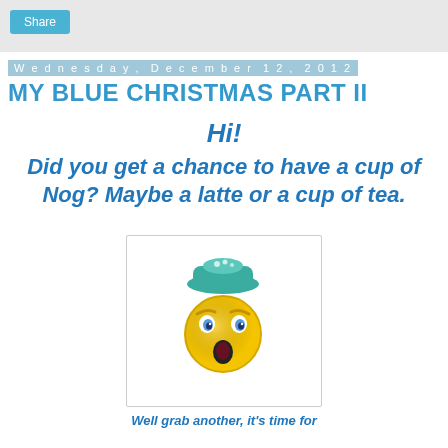Share
Wednesday, December 12, 2012
MY BLUE CHRISTMAS PART II
Hi!
Did you get a chance to have a cup of Nog? Maybe a latte or a cup of tea.
[Figure (illustration): A yellow cartoon smiley face emoji wearing a green winter hat, looking surprised or cold]
Well grab another, it's time for
~My Blue Christmas Part II~
~~~~~~~~
If you missed Part I